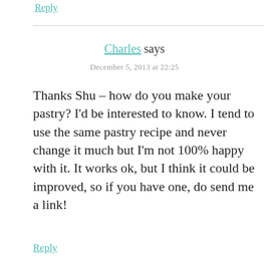Reply
Charles says
December 5, 2013 at 22:25
Thanks Shu – how do you make your pastry? I'd be interested to know. I tend to use the same pastry recipe and never change it much but I'm not 100% happy with it. It works ok, but I think it could be improved, so if you have one, do send me a link!
Reply